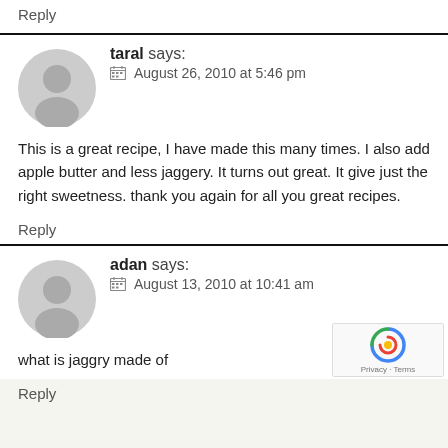Reply
taral says:
August 26, 2010 at 5:46 pm
This is a great recipe, I have made this many times. I also add apple butter and less jaggery. It turns out great. It give just the right sweetness. thank you again for all you great recipes.
Reply
adan says:
August 13, 2010 at 10:41 am
what is jaggry made of
Reply